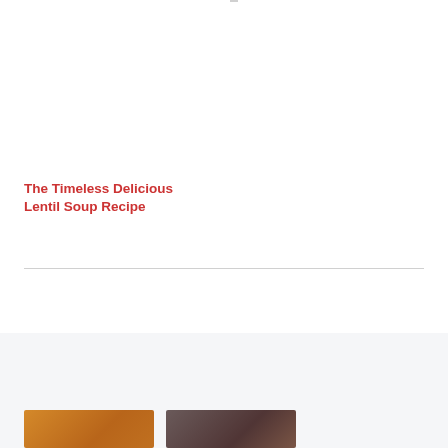[Figure (photo): Food photo placeholder area, left column top]
The Timeless Delicious Lentil Soup Recipe
[Figure (photo): Food photo placeholder area, right column top]
MY FAVORITES
[Figure (photo): Favorite food image 1 - warm orange toned food photo]
[Figure (photo): Favorite food image 2 - dark toned food photo]